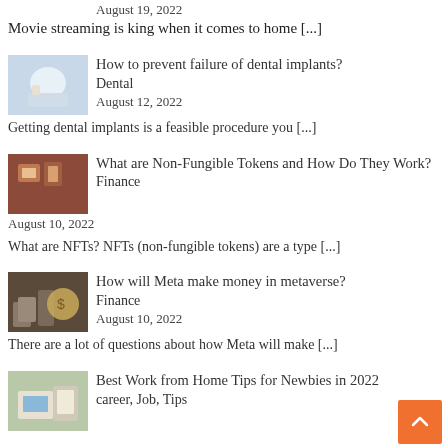August 19, 2022
Movie streaming is king when it comes to home [...]
[Figure (photo): Dental procedure thumbnail]
How to prevent failure of dental implants?
Dental
August 12, 2022
Getting dental implants is a feasible procedure you [...]
[Figure (photo): NFT / tokens thumbnail]
What are Non-Fungible Tokens and How Do They Work?
Finance
August 10, 2022
What are NFTs? NFTs (non-fungible tokens) are a type [...]
[Figure (photo): Meta / metaverse money thumbnail]
How will Meta make money in metaverse?
Finance
August 10, 2022
There are a lot of questions about how Meta will make [...]
[Figure (photo): Work from home thumbnail]
Best Work from Home Tips for Newbies in 2022
career, Job, Tips